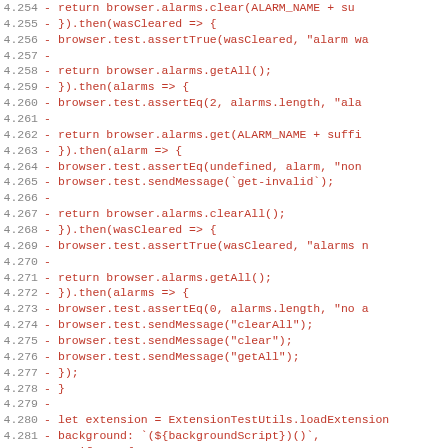[Figure (screenshot): Code diff view showing lines 4.254 to 4.286 of a JavaScript test file with deleted lines (red), showing browser alarm API test code including alarms.clear, alarms.getAll, alarms.get, alarms.clearAll calls and ExtensionTestUtils.loadExtension setup.]